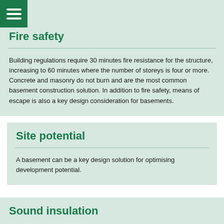[Figure (other): Hamburger menu icon — three white horizontal lines on a green square background]
Fire safety
Building regulations require 30 minutes fire resistance for the structure, increasing to 60 minutes where the number of storeys is four or more. Concrete and masonry do not burn and are the most common basement construction solution. In addition to fire safety, means of escape is also a key design consideration for basements.
Site potential
A basement can be a key design solution for optimising development potential.
Sound insulation